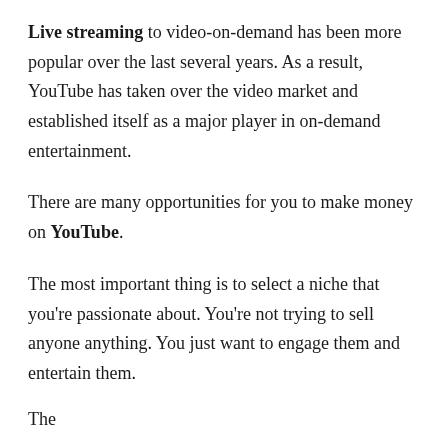Live streaming to video-on-demand has been more popular over the last several years. As a result, YouTube has taken over the video market and established itself as a major player in on-demand entertainment.
There are many opportunities for you to make money on YouTube.
The most important thing is to select a niche that you're passionate about. You're not trying to sell anyone anything. You just want to engage them and entertain them.
The...